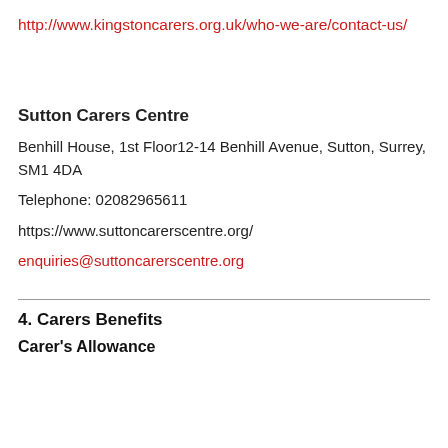http://www.kingstoncarers.org.uk/who-we-are/contact-us/
Sutton Carers Centre
Benhill House, 1st Floor12-14 Benhill Avenue, Sutton, Surrey, SM1 4DA
Telephone: 02082965611
https://www.suttoncarerscentre.org/
enquiries@suttoncarerscentre.org
4. Carers Benefits
Carer's Allowance